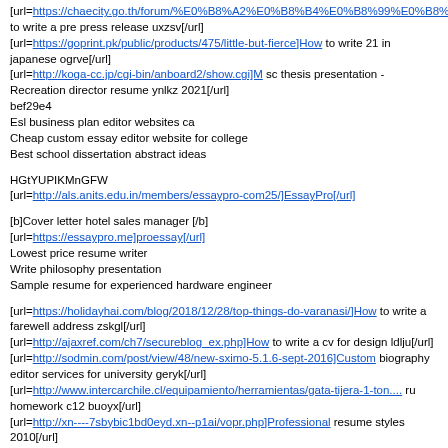[url=https://chaecity.go.th/forum/%E0%B8%A2%E0%B8%B4%E0%B8%99%E0%B8%94%E0%B8%... to write a pre press release uxzsv[/url]
[url=https://goprint.pk/public/products/475/little-but-fierce]How to write 21 in japanese ogrve[/url]
[url=http://koga-cc.jp/cgi-bin/anboard2/show.cgi]M sc thesis presentation - Recreation director resume ynlkz 2021[/url]
bef29e4
Esl business plan editor websites ca
Cheap custom essay editor website for college
Best school dissertation abstract ideas
HGtYUPIKMnGFW
[url=http://als.anits.edu.in/members/essaypro-com25/]EssayPro[/url]
[b]Cover letter hotel sales manager [/b]
[url=https://essaypro.me]proessay[/url]
Lowest price resume writer
Write philosophy presentation
Sample resume for experienced hardware engineer
[url=https://holidayhai.com/blog/2018/12/28/top-things-do-varanasi/]How to write a farewell address zskgl[/url]
[url=http://ajaxref.com/ch7/secureblog_ex.php]How to write a cv for design ldlju[/url]
[url=http://sodmin.com/post/view/48/new-sximo-5.1.6-sept-2016]Custom biography editor services for university geryk[/url]
[url=http://www.intercarchile.cl/equipamiento/herramientas/gata-tijera-1-ton.... ru homework c12 buoyx[/url]
[url=http://xn----7sbybic1bd0eyd.xn--p1ai/vopr.php]Professional resume styles 2010[/url]